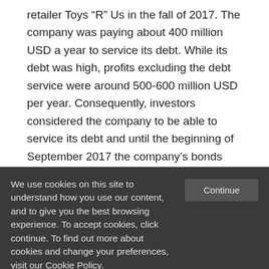retailer Toys “R” Us in the fall of 2017. The company was paying about 400 million USD a year to service its debt. While its debt was high, profits excluding the debt service were around 500-600 million USD per year. Consequently, investors considered the company to be able to service its debt and until the beginning of September 2017 the company’s bonds traded at almost par (meaning that investors deemed the bonds
We use cookies on this site to understand how you use our content, and to give you the best browsing experience. To accept cookies, click continue. To find out more about cookies and change your preferences, visit our Cookie Policy.